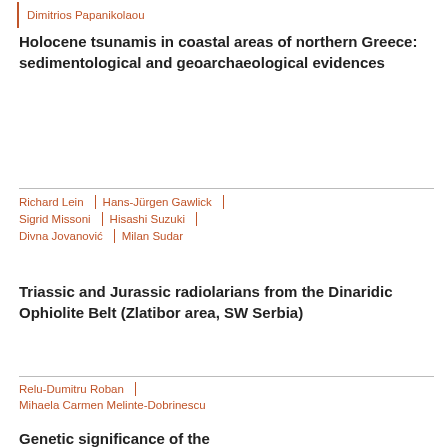Dimitrios Papanikolaou
Holocene tsunamis in coastal areas of northern Greece: sedimentological and geoarchaeological evidences
Richard Lein | Hans-Jürgen Gawlick | Sigrid Missoni | Hisashi Suzuki | Divna Jovanović | Milan Sudar
Triassic and Jurassic radiolarians from the Dinaridic Ophiolite Belt (Zlatibor area, SW Serbia)
Relu-Dumitru Roban | Mihaela Carmen Melinte-Dobrinescu
Genetic significance of the